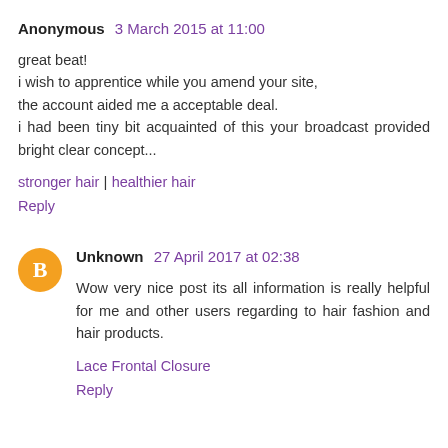Anonymous 3 March 2015 at 11:00
great beat!
i wish to apprentice while you amend your site,
the account aided me a acceptable deal.
i had been tiny bit acquainted of this your broadcast provided bright clear concept...
stronger hair | healthier hair
Reply
Unknown 27 April 2017 at 02:38
Wow very nice post its all information is really helpful for me and other users regarding to hair fashion and hair products.
Lace Frontal Closure
Reply